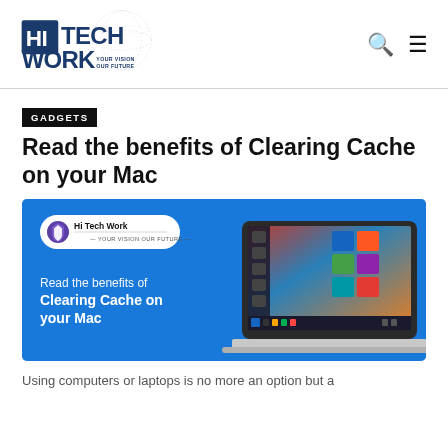HiTech Work — YOUR VISION OUR FUTURE
GADGETS
Read the benefits of Clearing Cache on your Mac
[Figure (illustration): Blue banner image with Hi Tech Work logo, text 'Read the benefits of Clearing Cache on your Mac', and an image of a laptop showing a Windows/Mac desktop screen on a blue background.]
Using computers or laptops is no more an option but a